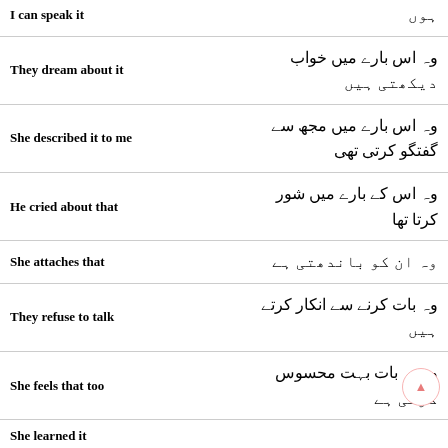| English | Urdu |
| --- | --- |
| I can speak it | ہوں |
| They dream about it | وہ اس بارے میں خواب دیکھتی ہیں |
| She described it to me | وہ اس بارے میں مجھ سے گفتگو کرتی تھی |
| He cried about that | وہ اس کے بارے میں شور کرتا تھا |
| She attaches that | وہ ان کو باندھتی ہے |
| They refuse to talk | وہ بات کرنے سے انکار کرتے ہیں |
| She feels that too | وہ یہ بات بہت محسوس کرتی ہے |
| She learned it |  |